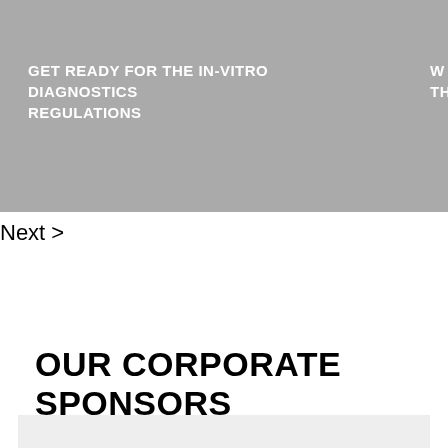[Figure (other): Gray banner background with white bold uppercase text reading GET READY FOR THE IN-VITRO DIAGNOSTICS REGULATIONS on the left side, and partially visible text W TH on the right side]
Next >
OUR CORPORATE SPONSORS
[Figure (other): Light gray box at the bottom of the page representing a sponsor logo area]